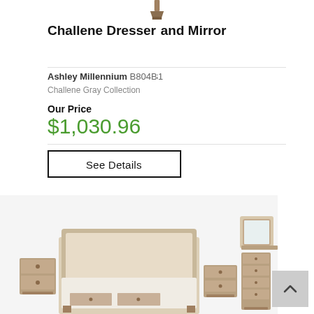[Figure (photo): Partial image of a dresser or furniture piece visible at the top of the page]
Challene Dresser and Mirror
Ashley Millennium B804B1
Challene Gray Collection
Our Price
$1,030.96
See Details
[Figure (photo): Bedroom furniture set including bed frame, two nightstands, a dresser, and a mirror in a distressed gray/brown finish]